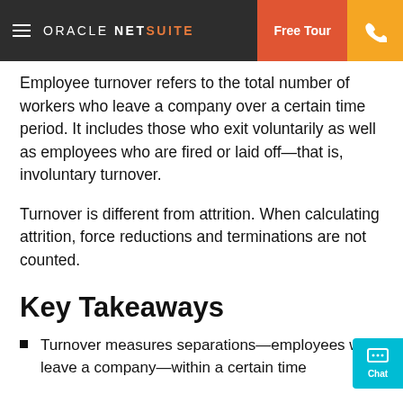ORACLE NETSUITE | Free Tour | Phone
Employee turnover refers to the total number of workers who leave a company over a certain time period. It includes those who exit voluntarily as well as employees who are fired or laid off—that is, involuntary turnover.
Turnover is different from attrition. When calculating attrition, force reductions and terminations are not counted.
Key Takeaways
Turnover measures separations—employees who leave a company—within a certain time